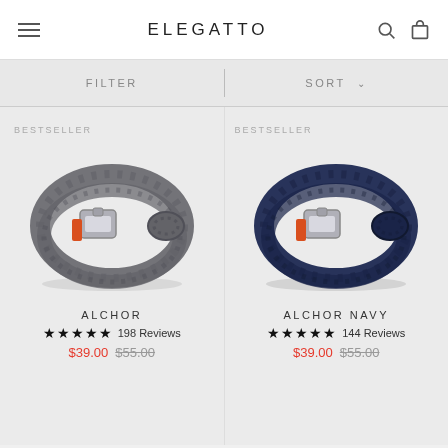ELEGATTO
FILTER   SORT
BESTSELLER
[Figure (photo): Grey rope bracelet with orange accent and silver shackle clasp]
ALCHOR
★★★★★ 198 Reviews
$39.00  $55.00
BESTSELLER
[Figure (photo): Navy blue rope bracelet with orange accent and silver shackle clasp]
ALCHOR NAVY
★★★★★ 144 Reviews
$39.00  $55.00